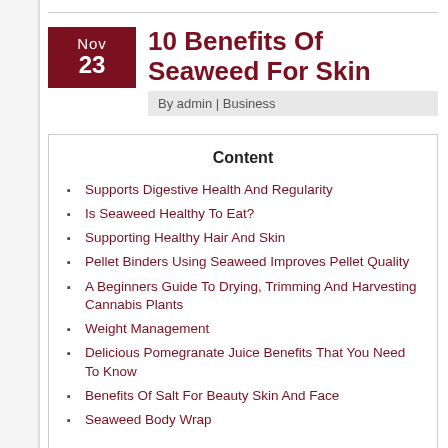10 Benefits Of Seaweed For Skin
By admin | Business
Content
Supports Digestive Health And Regularity
Is Seaweed Healthy To Eat?
Supporting Healthy Hair And Skin
Pellet Binders Using Seaweed Improves Pellet Quality
A Beginners Guide To Drying, Trimming And Harvesting Cannabis Plants
Weight Management
Delicious Pomegranate Juice Benefits That You Need To Know
Benefits Of Salt For Beauty Skin And Face
Seaweed Body Wrap